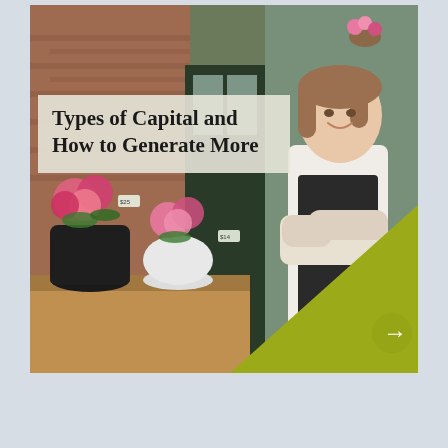[Figure (photo): A cover slide image showing a flower shop storefront with colorful flowers in pots on the left, and a smiling businesswoman in a dark apron with arms crossed standing in the doorway on the right. An olive/yellow-green triangular graphic element fills the lower-right corner with a white arrow pointing right.]
Types of Capital and How to Generate More